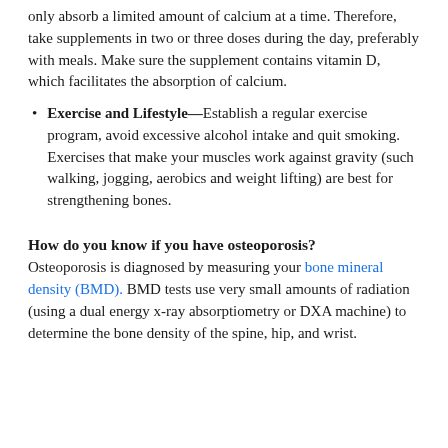only absorb a limited amount of calcium at a time. Therefore, take supplements in two or three doses during the day, preferably with meals. Make sure the supplement contains vitamin D, which facilitates the absorption of calcium.
Exercise and Lifestyle—Establish a regular exercise program, avoid excessive alcohol intake and quit smoking. Exercises that make your muscles work against gravity (such walking, jogging, aerobics and weight lifting) are best for strengthening bones.
How do you know if you have osteoporosis?
Osteoporosis is diagnosed by measuring your bone mineral density (BMD). BMD tests use very small amounts of radiation (using a dual energy x-ray absorptiometry or DXA machine) to determine the bone density of the spine, hip, and wrist.